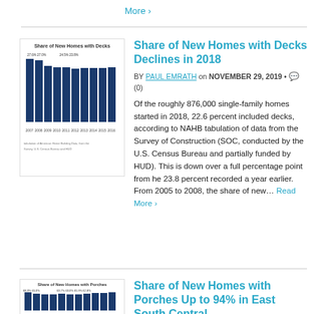More ›
[Figure (bar-chart): Bar chart showing share of new homes with decks from 2007 to 2016]
Share of New Homes with Decks Declines in 2018
BY PAUL EMRATH on NOVEMBER 29, 2019 • (0)
Of the roughly 876,000 single-family homes started in 2018, 22.6 percent included decks, according to NAHB tabulation of data from the Survey of Construction (SOC, conducted by the U.S. Census Bureau and partially funded by HUD). This is down over a full percentage point from he 23.8 percent recorded a year earlier. From 2005 to 2008, the share of new… Read More ›
[Figure (bar-chart): Bar chart showing share of new homes with porches]
Share of New Homes with Porches Up to 94% in East South Central